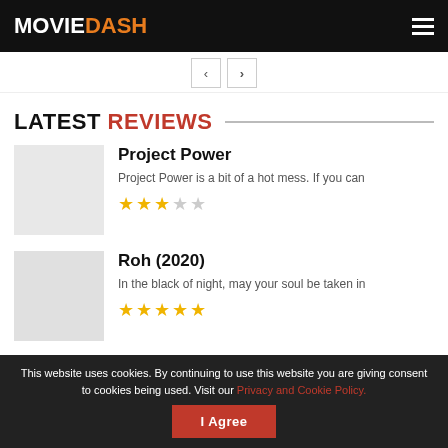MOVIEDASH
LATEST REVIEWS
Project Power — Project Power is a bit of a hot mess. If you can — Rating: 3/5 stars
Roh (2020) — In the black of night, may your soul be taken in — Rating: 4.5/5 stars
The Sonata (2020)
This website uses cookies. By continuing to use this website you are giving consent to cookies being used. Visit our Privacy and Cookie Policy.